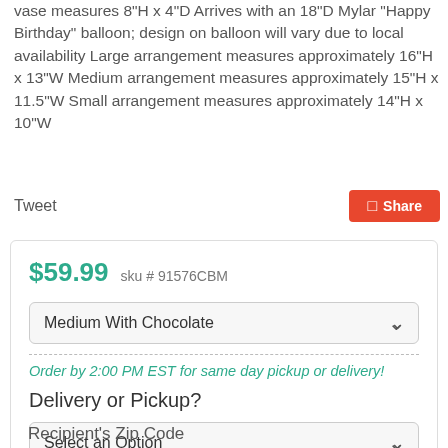vase measures 8"H x 4"D Arrives with an 18"D Mylar "Happy Birthday" balloon; design on balloon will vary due to local availability Large arrangement measures approximately 16"H x 13"W Medium arrangement measures approximately 15"H x 11.5"W Small arrangement measures approximately 14"H x 10"W
Tweet
Share
$59.99  sku # 91576CBM
Medium With Chocolate
Order by 2:00 PM EST for same day pickup or delivery!
Delivery or Pickup?
Select an Option
Recipient's Zip Code